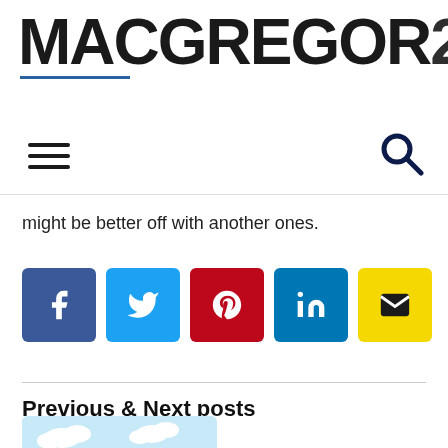MACGREGOR26
[Figure (other): Navigation bar with hamburger menu icon and search icon]
might be better off with another ones.
[Figure (other): Social share buttons: Facebook, Twitter, Pinterest, LinkedIn, Email]
Previous & Next posts
[Figure (illustration): Illustration of a retail store/shop front with red and white striped awning, a clock, street lamp, and small trees]